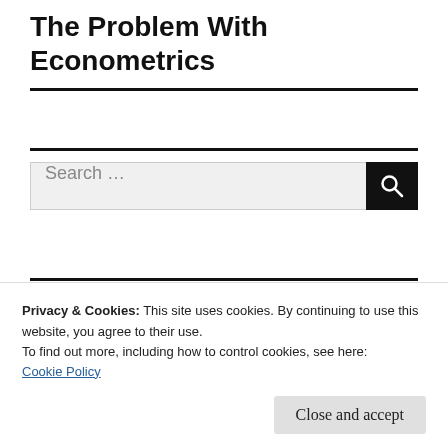The Problem With Econometrics
Search ...
RECENT POSTS
Privacy & Cookies: This site uses cookies. By continuing to use this website, you agree to their use.
To find out more, including how to control cookies, see here:
Cookie Policy
Close and accept
of Ireland